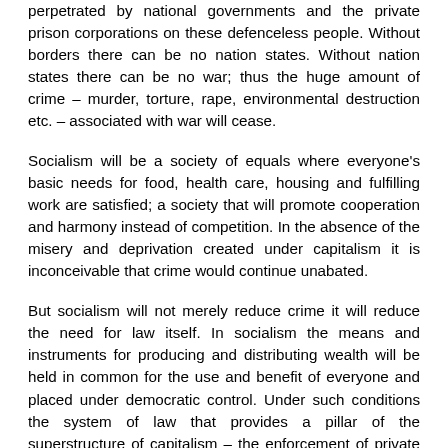perpetrated by national governments and the private prison corporations on these defenceless people. Without borders there can be no nation states. Without nation states there can be no war; thus the huge amount of crime – murder, torture, rape, environmental destruction etc. – associated with war will cease.
Socialism will be a society of equals where everyone's basic needs for food, health care, housing and fulfilling work are satisfied; a society that will promote cooperation and harmony instead of competition. In the absence of the misery and deprivation created under capitalism it is inconceivable that crime would continue unabated.
But socialism will not merely reduce crime it will reduce the need for law itself. In socialism the means and instruments for producing and distributing wealth will be held in common for the use and benefit of everyone and placed under democratic control. Under such conditions the system of law that provides a pillar of the superstructure of capitalism – the enforcement of private property rights, facilitating accumulation of wealth and exchange through the money